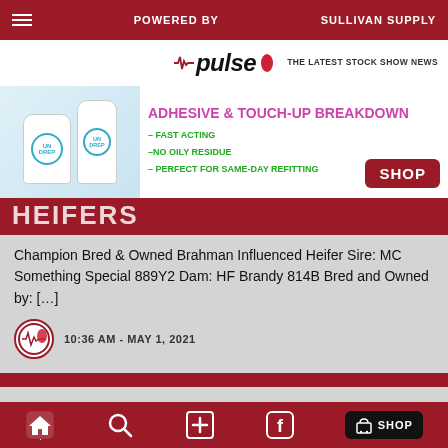POWERED BY | SULLIVAN SUPPLY
[Figure (logo): Pulse logo with heartbeat icon and chili pepper - THE LATEST STOCK SHOW NEWS]
[Figure (photo): Advertisement banner: ADHESIVE & TOUCH-UP BREAKDOWN - FAST ACTING, NO OILY RESIDUE, PERFECT FOR SAME-DAY REFITTING. SHOP button. Undrepp product bottles shown.]
HEIFERS
Champion Bred & Owned Brahman Influenced Heifer Sire: MC Something Special 889Y2 Dam: HF Brandy 814B Bred and Owned by: […]
10:36 AM - MAY 1, 2021
DERBY DAY JACKPOT SHOW (OCALA, FL) | OWNED BRAHMAN INFLUENCED HEIFERS
Champion Owned Brahman Influenced Heifer Si…
pulse  [search]  [+]  [facebook]  SHOP